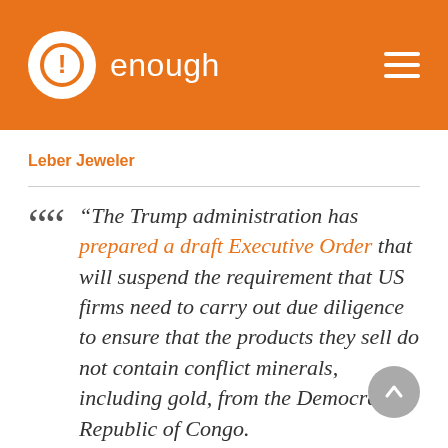enough
Leber Jeweler
“The Trump administration has prepared a draft Executive Order that will suspend the requirement that US firms need to carry out due diligence to ensure that the products they sell do not contain conflict minerals, including gold, from the Democratic Republic of Congo. “In what reads like a story from the farcical newspaper The Onion, the draft claims the obligation to prove that no conflict minerals are in a company’s products...